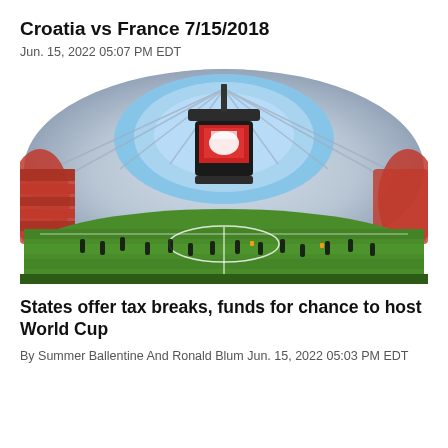Croatia vs France 7/15/2018
Jun. 15, 2022 05:07 PM EDT
[Figure (photo): Inside a large domed stadium with a retractable roof, showing soccer players warming up on green grass pitch. Stands are red and largely empty. A large scoreboard/video cube hangs from the ceiling structure. Blue sky visible through the transparent dome roof.]
States offer tax breaks, funds for chance to host World Cup
By Summer Ballentine And Ronald Blum Jun. 15, 2022 05:03 PM EDT